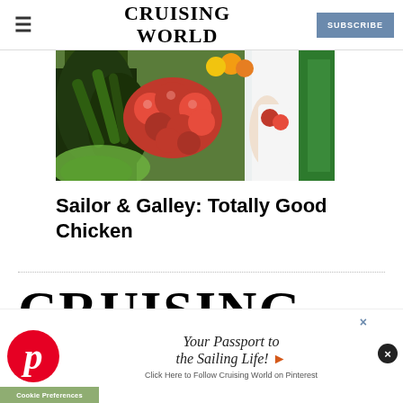CRUISING WORLD | SUBSCRIBE
[Figure (photo): Person in white coat browsing fresh vegetables and red tomatoes at a market stall with eggplants and leafy greens]
Sailor & Galley: Totally Good Chicken
[Figure (logo): Large Cruising World magazine logo at bottom of page]
[Figure (infographic): Pinterest advertisement banner: Your Passport to the Sailing Life! Click Here to Follow Cruising World on Pinterest]
Cookie Preferences